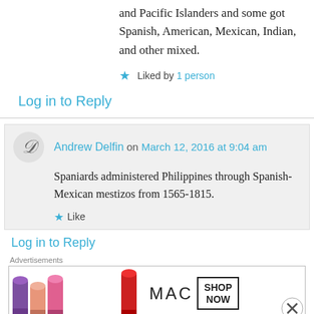and Pacific Islanders and some got Spanish, American, Mexican, Indian, and other mixed.
★ Liked by 1 person
Log in to Reply
Andrew Delfin on March 12, 2016 at 9:04 am
Spaniards administered Philippines through Spanish-Mexican mestizos from 1565-1815.
★ Like
Log in to Reply
[Figure (illustration): MAC cosmetics advertisement showing colorful lipsticks with MAC logo and SHOP NOW button]